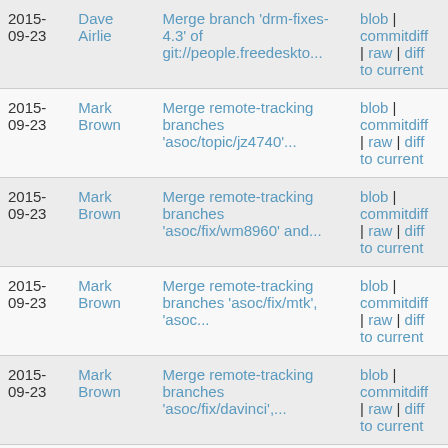| Date | Author | Message | Links |
| --- | --- | --- | --- |
| 2015-09-23 | Dave Airlie | Merge branch 'drm-fixes-4.3' of git://people.freedeskto... | blob | commitdiff | raw | diff to current |
| 2015-09-23 | Mark Brown | Merge remote-tracking branches 'asoc/topic/jz4740'... | blob | commitdiff | raw | diff to current |
| 2015-09-23 | Mark Brown | Merge remote-tracking branches 'asoc/fix/wm8960' and... | blob | commitdiff | raw | diff to current |
| 2015-09-23 | Mark Brown | Merge remote-tracking branches 'asoc/fix/mtk', 'asoc... | blob | commitdiff | raw | diff to current |
| 2015-09-23 | Mark Brown | Merge remote-tracking branches 'asoc/fix/davinci',... | blob | commitdiff | raw | diff to current |
| 2015-09-23 | Mark Brown | Merge remote-tracking branch 'asoc/fix/rt5645' into... | blob | commitdiff |